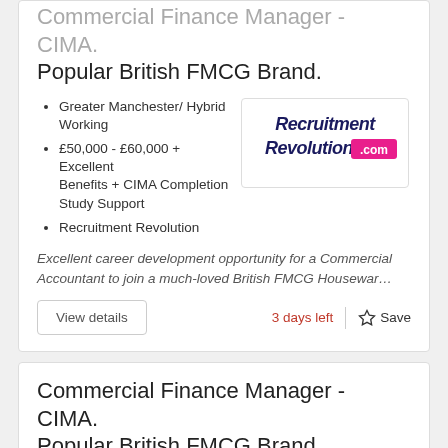Commercial Finance Manager - CIMA. Popular British FMCG Brand.
Greater Manchester/ Hybrid Working
£50,000 - £60,000 + Excellent Benefits + CIMA Completion Study Support
Recruitment Revolution
[Figure (logo): Recruitment Revolution .com logo - dark navy script text with pink .com badge]
Excellent career development opportunity for a Commercial Accountant to join a much-loved British FMCG Housewar…
View details
3 days left
Save
Commercial Finance Manager - CIMA. Popular British FMCG Brand.
Greater Manchester/ Hybrid Working
[Figure (logo): Recruitment logo (partial) - dark navy script Recruitment text]